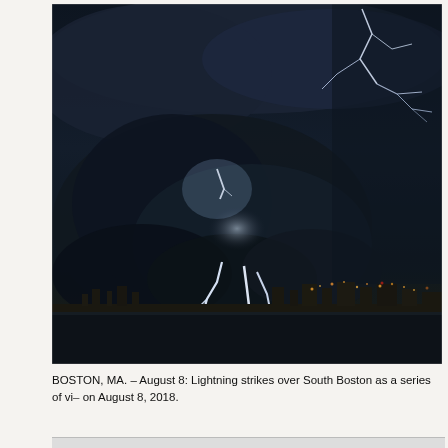[Figure (photo): Night photograph of lightning strikes over South Boston, MA. Dark storm clouds fill the upper portion with multiple lightning bolts visible — one in the upper right, one in the upper-left cloud area, and dramatic branching strikes in the lower center above the city skyline. City lights are reflected on the water in the foreground.]
BOSTON, MA. – August 8: Lightning strikes over South Boston as a series of vi... on August 8, 2018.